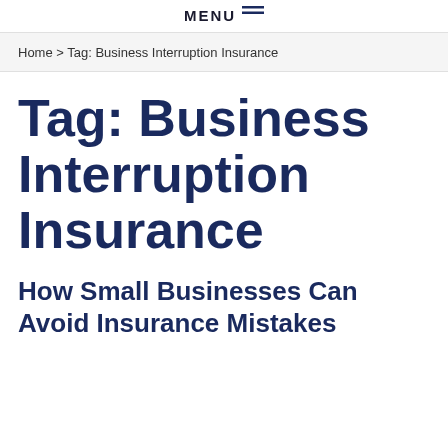MENU
Home > Tag: Business Interruption Insurance
Tag: Business Interruption Insurance
How Small Businesses Can Avoid Insurance Mistakes